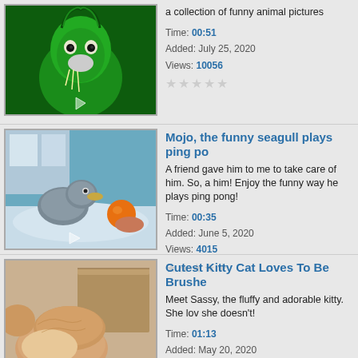[Figure (photo): Green-tinted funny llama/alpaca face close-up]
a collection of funny animal pictures
Time: 00:51
Added: July 25, 2020
Views: 10056
[Figure (photo): Seagull on a surface with an orange ball, blue background]
Mojo, the funny seagull plays ping po...
A friend gave him to me to take care of him. So, a... him! Enjoy the funny way he plays ping pong!
Time: 00:35
Added: June 5, 2020
Views: 4015
[Figure (photo): Orange/cream cat with blurred background near cardboard]
Cutest Kitty Cat Loves To Be Brushe...
Meet Sassy, the fluffy and adorable kitty. She lov... she doesn't!
Time: 01:13
Added: May 20, 2020
Views: 6842